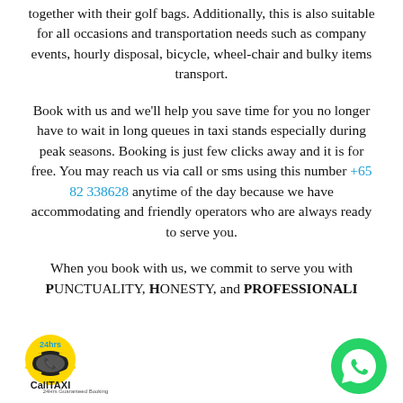together with their golf bags. Additionally, this is also suitable for all occasions and transportation needs such as company events, hourly disposal, bicycle, wheel-chair and bulky items transport.
Book with us and we'll help you save time for you no longer have to wait in long queues in taxi stands especially during peak seasons. Booking is just few clicks away and it is for free. You may reach us via call or sms using this number +65 82 338628 anytime of the day because we have accommodating and friendly operators who are always ready to serve you.
When you book with us, we commit to serve you with PUNCTUALITY, HONESTY, and PROFESSIONALI...
[Figure (logo): CallTAXI 24hrs logo with taxi icon]
[Figure (logo): WhatsApp green circular button icon]